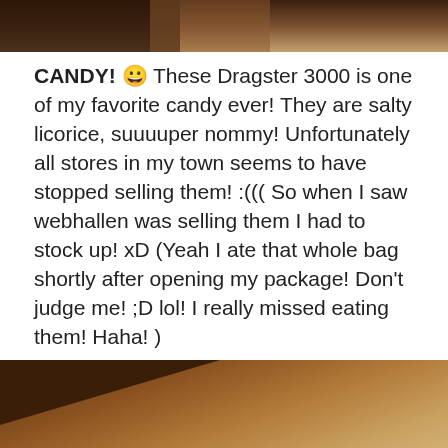[Figure (photo): Top portion of a photo showing dark and brown tones, partially cropped]
CANDY! 😀 These Dragster 3000 is one of my favorite candy ever! They are salty licorice, suuuuper nommy! Unfortunately all stores in my town seems to have stopped selling them! :((( So when I saw webhallen was selling them I had to stock up! xD (Yeah I ate that whole bag shortly after opening my package! Don't judge me! ;D lol! I really missed eating them! Haha! )
[Figure (photo): Brown cardboard and wood surface photo]
Privacy & Cookies: This site uses cookies. By continuing to use this website, you agree to their use.
To find out more, including how to control cookies, see here: Cookie Policy
Close and accept